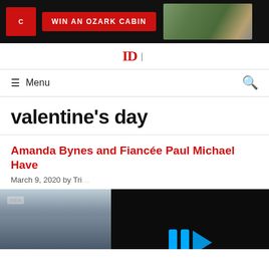[Figure (other): Advertisement banner: red button with text 'WIN AN OZARK CABIN' and image of a cabin on black background]
Menu | Search
valentine's day
Amanda Bynes and Fiancée Paul Michael Have
March 9, 2020 by Tri
[Figure (screenshot): Partial article image on the left showing shelves, and a dark video overlay on the right with blue play icon and mute icon]